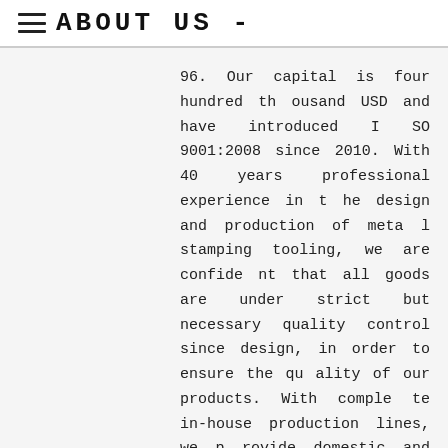ABOUT US -
96. Our capital is four hundred thousand USD and have introduced ISO 9001:2008 since 2010. With 40 years professional experience in the design and production of metal stamping tooling, we are confident that all goods are under strict but necessary quality control since design, in order to ensure the quality of our products. With complete in-house production lines, we provide domestic and global customers with rounded service through competitive price and excellent quality.